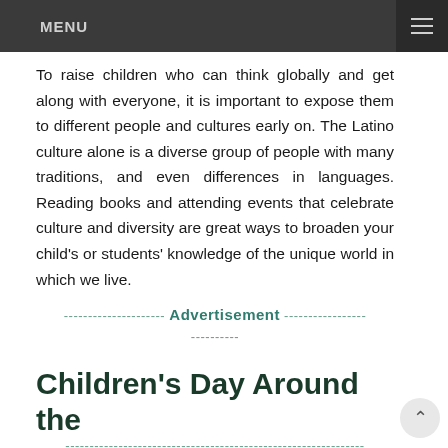MENU
To raise children who can think globally and get along with everyone, it is important to expose them to different people and cultures early on. The Latino culture alone is a diverse group of people with many traditions, and even differences in languages. Reading books and attending events that celebrate culture and diversity are great ways to broaden your child’s or students’ knowledge of the unique world in which we live.
-------------------- Advertisement ---------------------------
Children’s Day Around the